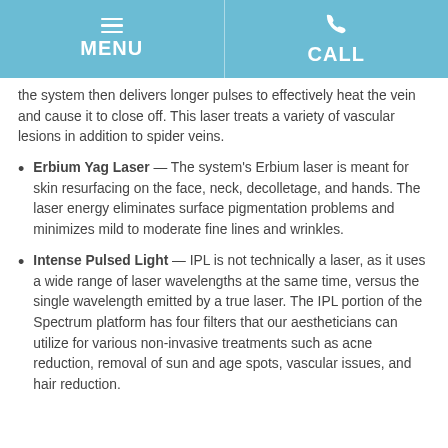MENU  |  CALL
the system then delivers longer pulses to effectively heat the vein and cause it to close off. This laser treats a variety of vascular lesions in addition to spider veins.
Erbium Yag Laser — The system's Erbium laser is meant for skin resurfacing on the face, neck, decolletage, and hands. The laser energy eliminates surface pigmentation problems and minimizes mild to moderate fine lines and wrinkles.
Intense Pulsed Light — IPL is not technically a laser, as it uses a wide range of laser wavelengths at the same time, versus the single wavelength emitted by a true laser. The IPL portion of the Spectrum platform has four filters that our aestheticians can utilize for various non-invasive treatments such as acne reduction, removal of sun and age spots, vascular issues, and hair reduction.